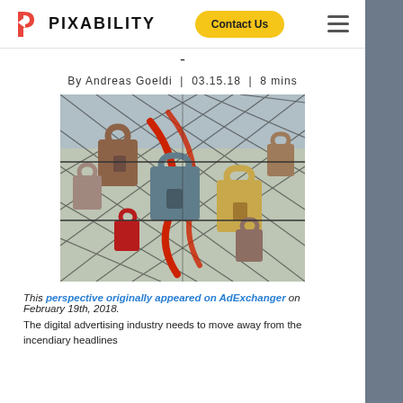Pixability — Contact Us
By Andreas Goeldi | 03.15.18 | 8 mins
[Figure (photo): Close-up photo of multiple padlocks of various colors and sizes attached to a metal fence or wire mesh, with chains and a red lock visible.]
This perspective originally appeared on AdExchanger on February 19th, 2018. The digital advertising industry needs to move away from the incendiary headlines